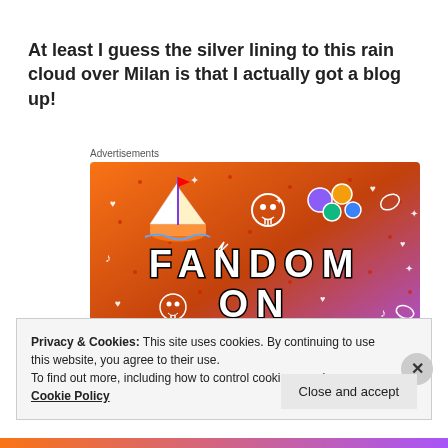At least I guess the silver lining to this rain cloud over Milan is that I actually got a blog up!
Advertisements
[Figure (illustration): Fandom on Tumblr promotional banner with colorful gradient background (orange to purple), featuring a sailboat sticker, skull icons, dice, and doodle patterns with text FANDOM ON tumblr]
Privacy & Cookies: This site uses cookies. By continuing to use this website, you agree to their use.
To find out more, including how to control cookies, see here: Cookie Policy
Close and accept